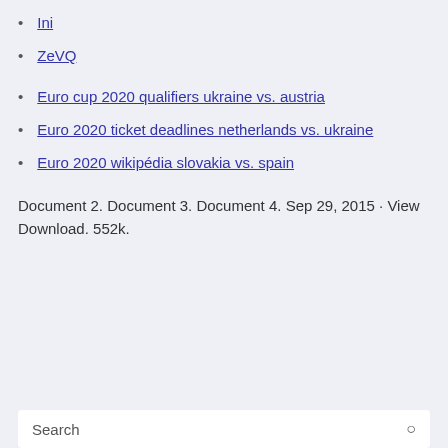Ini
ZeVQ
Euro cup 2020 qualifiers ukraine vs. austria
Euro 2020 ticket deadlines netherlands vs. ukraine
Euro 2020 wikipédia slovakia vs. spain
Document 2. Document 3. Document 4. Sep 29, 2015 · View Download. 552k.
Search